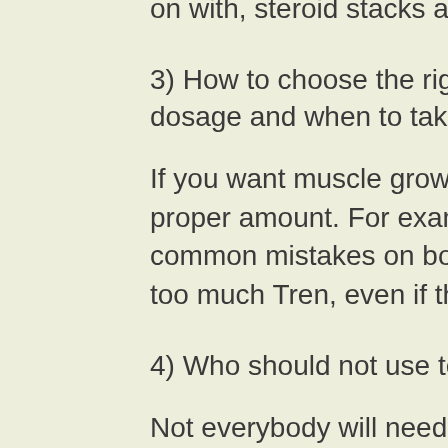on with, steroid stacks and doses.
3) How to choose the right Testosterone Booster dosage and when to take it?
If you want muscle growth, you want to use the proper amount. For example, one of the most common mistakes on bodybuilding websites is using too much Tren, even if they say it's a good thing.
4) Who should not use testosterone?
Not everybody will need or want the effects of the testosterone, best steroid stack for beginners. Some of the things that will not help you with size are aldosterone, and too much caffeine.
Testosterone Cycles FAQ for Women
1) What is the most common mistake on